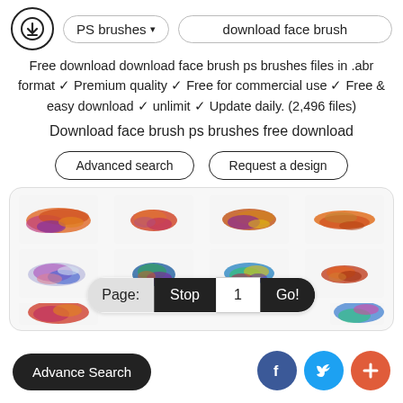PS brushes ▼   download face brush
Free download download face brush ps brushes files in .abr format ✓ Premium quality ✓ Free for commercial use ✓ Free & easy download ✓ unlimit ✓ Update daily. (2,496 files)
Download face brush ps brushes free download
Advanced search   Request a design
[Figure (illustration): Gallery of 8 colorful paint brush stroke thumbnails arranged in 2 rows of 4, showing various artistic brush textures in orange, purple, blue, green and multicolor palettes]
Page: Stop 1 Go!
Advance Search
[Figure (illustration): Social sharing buttons: Facebook (blue), Twitter (light blue), and a red plus/share button]